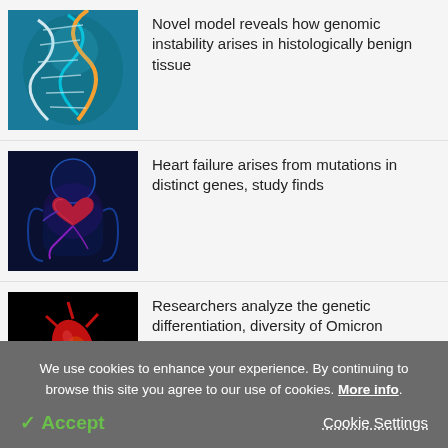[Figure (photo): DNA double helix illustration in teal and orange colors]
Novel model reveals how genomic instability arises in histologically benign tissue
[Figure (photo): Medical illustration of human heart with glowing purple and blue anatomical structures]
Heart failure arises from mutations in distinct genes, study finds
[Figure (photo): Red virus or bacteria illustration on black background]
Researchers analyze the genetic differentiation, diversity of Omicron
We use cookies to enhance your experience. By continuing to browse this site you agree to our use of cookies. More info.
✓ Accept
Cookie Settings